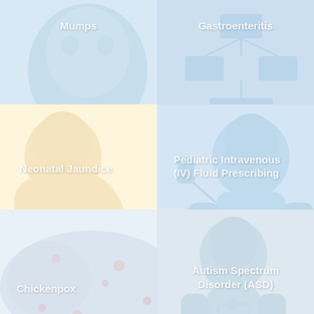[Figure (illustration): Medical topic card: Mumps - light blue background with faint baby/infant illustration]
Mumps
[Figure (illustration): Medical topic card: Gastroenteritis - light blue background with faint organizational/flow chart illustration]
Gastroenteritis
[Figure (illustration): Medical topic card: Neonatal Jaundice - light yellow background with faint newborn illustration]
Neonatal Jaundice
[Figure (illustration): Medical topic card: Pediatric Intravenous (IV) Fluid Prescribing - light blue background with faint infant illustration]
Pediatric Intravenous (IV) Fluid Prescribing
[Figure (illustration): Medical topic card: Chickenpox - light blue/grey background with faint map/rash illustration]
Chickenpox
[Figure (illustration): Medical topic card: Autism Spectrum Disorder (ASD) - light blue background with faint child illustration]
Autism Spectrum Disorder (ASD)